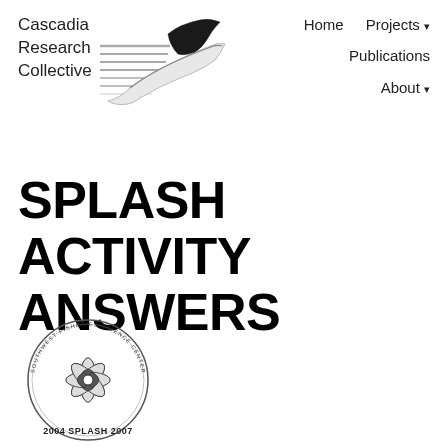[Figure (logo): Cascadia Research Collective logo: organization name text on left with a black whale/dolphin tail fin graphic with horizontal lines]
Home   Projects ▾   Publications   About ▾
SPLASH ACTIVITY ANSWERS
[Figure (logo): SPLASH program circular logo/seal with floral/whale fluke design in center, text around border, '2004 SPLASH 2007' at bottom]